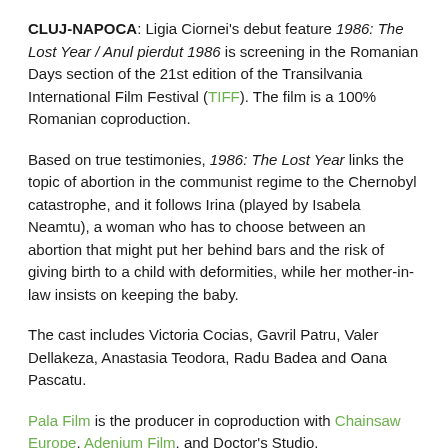CLUJ-NAPOCA: Ligia Ciornei's debut feature 1986: The Lost Year / Anul pierdut 1986 is screening in the Romanian Days section of the 21st edition of the Transilvania International Film Festival (TIFF). The film is a 100% Romanian coproduction.
Based on true testimonies, 1986: The Lost Year links the topic of abortion in the communist regime to the Chernobyl catastrophe, and it follows Irina (played by Isabela Neamtu), a woman who has to choose between an abortion that might put her behind bars and the risk of giving birth to a child with deformities, while her mother-in-law insists on keeping the baby.
The cast includes Victoria Cocias, Gavril Patru, Valer Dellakeza, Anastasia Teodora, Radu Badea and Oana Pascatu.
Pala Film is the producer in coproduction with Chainsaw Europe, Adenium Film, and Doctor's Studio.
The film will be theatrically released in Romania by Pala Film on 24 June 2022.